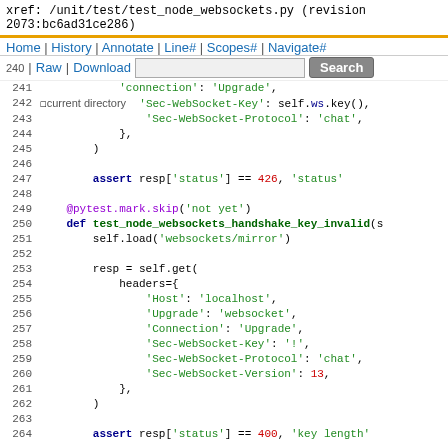xref: /unit/test/test_node_websockets.py (revision 2073:bc6ad31ce286)
Home | History | Annotate | Line# | Scopes# | Navigate#
240 | Raw | Download [search box] Search | 241 | 242 current directory
Python source code lines 240-264 showing websocket test functions including test_node_websockets_handshake_key_invalid